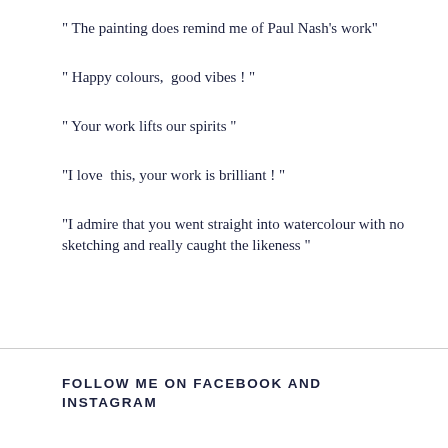" The painting does remind me of Paul Nash's work"
" Happy colours,  good vibes ! "
" Your work lifts our spirits "
"I love  this, your work is brilliant ! "
"I admire that you went straight into watercolour with no sketching and really caught the likeness "
FOLLOW ME ON FACEBOOK AND INSTAGRAM